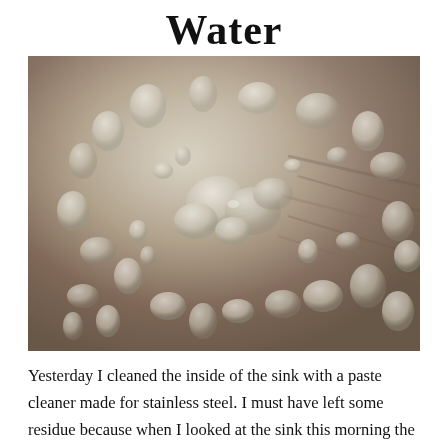Water
[Figure (photo): Close-up photograph of water droplets on a stainless steel sink surface, showing beaded water with reflective metallic background]
Yesterday I cleaned the inside of the sink with a paste cleaner made for stainless steel. I must have left some residue because when I looked at the sink this morning the water in the sink had coalesced with surface